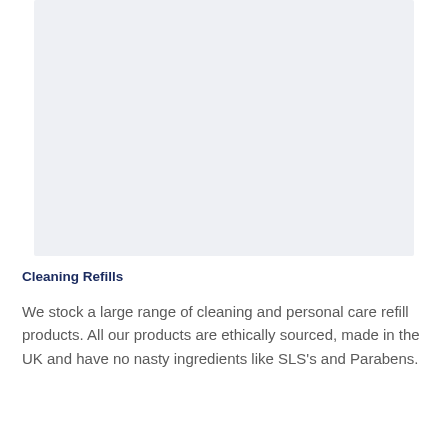[Figure (other): Light gray rectangular image placeholder area]
Cleaning Refills
We stock a large range of cleaning and personal care refill products. All our products are ethically sourced, made in the UK and have no nasty ingredients like SLS's and Parabens.